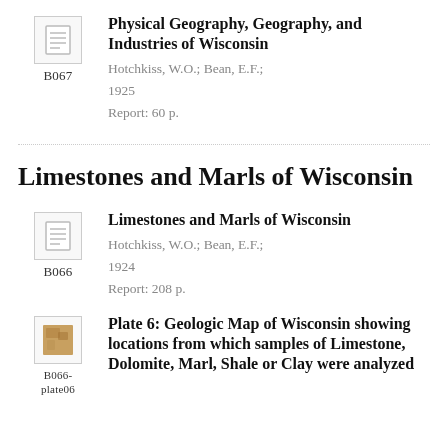[Figure (illustration): Small document thumbnail icon (lines representing text), with label B067 below]
Physical Geography, Geography, and Industries of Wisconsin
Hotchkiss, W.O.; Bean, E.F.;
1925
Report: 60 p.
Limestones and Marls of Wisconsin
[Figure (illustration): Small document thumbnail icon (lines representing text), with label B066 below]
Limestones and Marls of Wisconsin
Hotchkiss, W.O.; Bean, E.F.;
1924
Report: 208 p.
[Figure (illustration): Small thumbnail image (brownish/orange color, map fragment), with label B066-plate06 below]
Plate 6: Geologic Map of Wisconsin showing locations from which samples of Limestone, Dolomite, Marl, Shale or Clay were analyzed